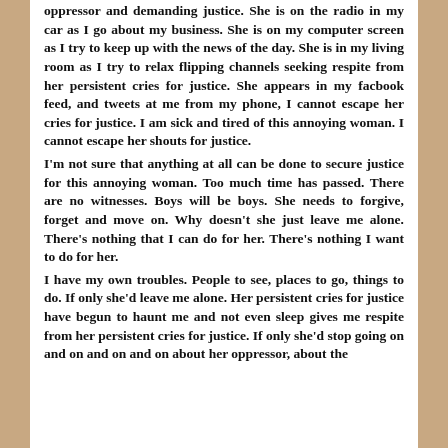oppressor and demanding justice. She is on the radio in my car as I go about my business. She is on my computer screen as I try to keep up with the news of the day. She is in my living room as I try to relax flipping channels seeking respite from her persistent cries for justice. She appears in my facbook feed, and tweets at me from my phone, I cannot escape her cries for justice. I am sick and tired of this annoying woman. I cannot escape her shouts for justice.
I'm not sure that anything at all can be done to secure justice for this annoying woman. Too much time has passed. There are no witnesses. Boys will be boys. She needs to forgive, forget and move on. Why doesn't she just leave me alone. There's nothing that I can do for her. There's nothing I want to do for her.
I have my own troubles. People to see, places to go, things to do. If only she'd leave me alone. Her persistent cries for justice have begun to haunt me and not even sleep gives me respite from her persistent cries for justice. If only she'd stop going on and on and on and on about her oppressor, about the